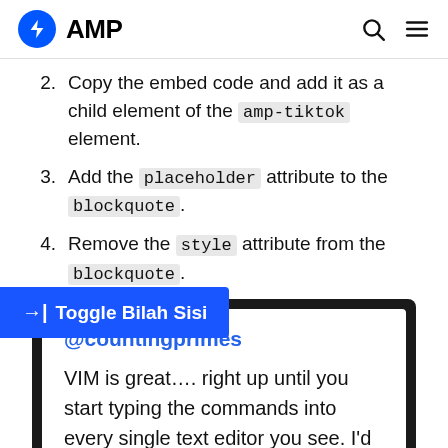AMP
2. Copy the embed code and add it as a child element of the amp-tiktok element.
3. Add the placeholder attribute to the blockquote.
4. Remove the style attribute from the blockquote.
[Figure (screenshot): TikTok embed preview showing @countingprimes tweet: VIM is great.... right up until you start typing the commands into every single text editor you see. I'd like to apologize for all my]